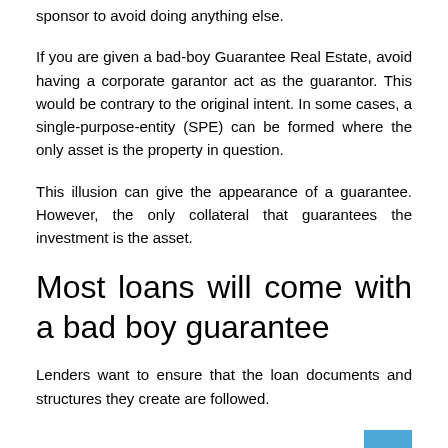sponsor to avoid doing anything else.
If you are given a bad-boy Guarantee Real Estate, avoid having a corporate garantor act as the guarantor. This would be contrary to the original intent. In some cases, a single-purpose-entity (SPE) can be formed where the only asset is the property in question.
This illusion can give the appearance of a guarantee. However, the only collateral that guarantees the investment is the asset.
Most loans will come with a bad boy guarantee
Lenders want to ensure that the loan documents and structures they create are followed.